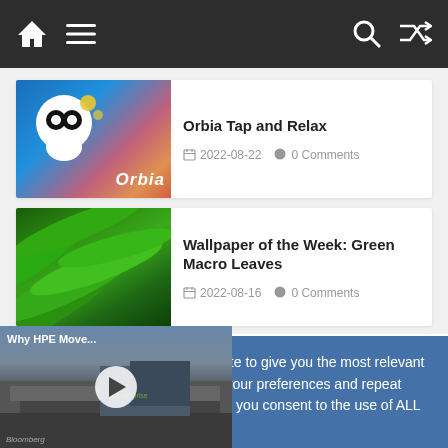Navigation bar with home, menu, search, and shuffle icons
Orbia Tap and Relax
2022-08-22   0 Comments
Wallpaper of the Week: Green Macro Leaves
2022-08-16   0 Comments
We use cookies on our website to give you the most relevant experience by remembering your preferences and repeat visits. By clicking "Accept All", you consent to the use of ALL the cookies.
kie Settings" to provide a
Policy
[Figure (screenshot): Video thumbnail showing HPE building with Bloomberg branding, play button, and label 'Why HPE Move...']